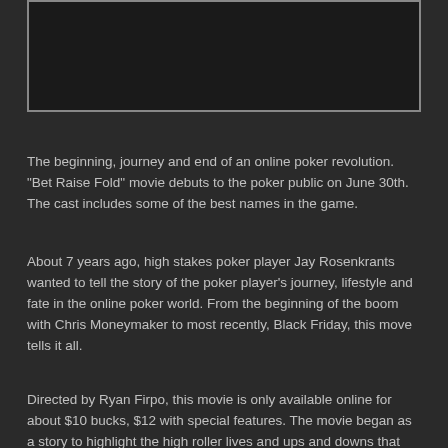[Figure (other): Dark rectangular image placeholder at top of page]
The beginning, journey and end of an online poker revolution. "Bet Raise Fold" movie debuts to the poker public on June 30th. The cast includes some of the best names in the game.
About 7 years ago, high stakes poker player Jay Rosenkrants wanted to tell the story of the poker player's journey, lifestyle and fate in the online poker world. From the beginning of the boom with Chris Moneymaker to most recently, Black Friday, this move tells it all.
Directed by Ryan Firpo, this movie is only available online for about $10 bucks, $12 with special features. The movie began as a story to highlight the high roller lives and ups and downs that come with playing online poker for a living. This all changed in 2011 when FullTilt, Poker Stars, Ultimate Bet, Absolute Poker and many other sites were forced out of the US as the US government started taking out their legs. They started with